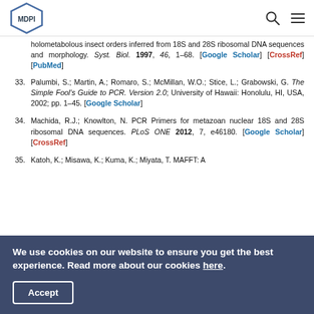MDPI
holometabolous insect orders inferred from 18S and 28S ribosomal DNA sequences and morphology. Syst. Biol. 1997, 46, 1–68. [Google Scholar] [CrossRef] [PubMed]
33. Palumbi, S.; Martin, A.; Romaro, S.; McMillan, W.O.; Stice, L.; Grabowski, G. The Simple Fool's Guide to PCR. Version 2.0; University of Hawaii: Honolulu, HI, USA, 2002; pp. 1–45. [Google Scholar]
34. Machida, R.J.; Knowlton, N. PCR Primers for metazoan nuclear 18S and 28S ribosomal DNA sequences. PLoS ONE 2012, 7, e46180. [Google Scholar] [CrossRef]
35. Katoh, K.; Misawa, K.; Kuma, K.; Miyata, T. MAFFT: A
We use cookies on our website to ensure you get the best experience. Read more about our cookies here.
Accept